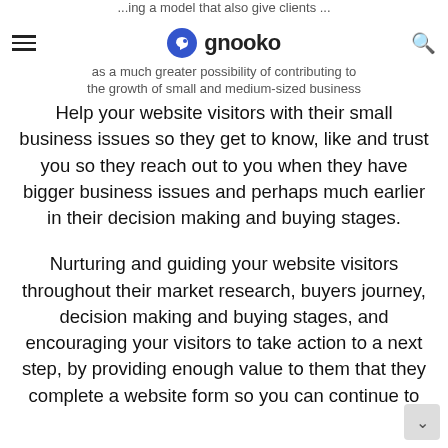...ing a model that also give clients ... as a much greater possibility of contributing to the growth of small and medium-sized business ...
Help your website visitors with their small business issues so they get to know, like and trust you so they reach out to you when they have bigger business issues and perhaps much earlier in their decision making and buying stages.
Nurturing and guiding your website visitors throughout their market research, buyers journey, decision making and buying stages, and encouraging your visitors to take action to a next step, by providing enough value to them that they complete a website form so you can continue to reach them with their...